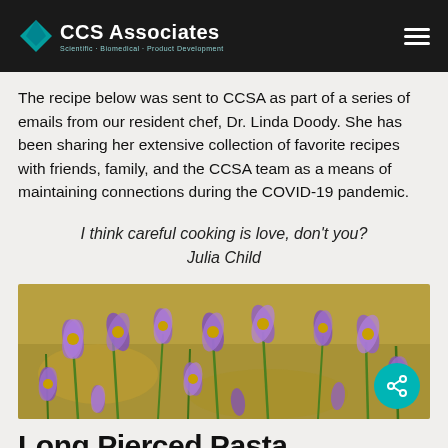CCS Associates
The recipe below was sent to CCSA as part of a series of emails from our resident chef, Dr. Linda Doody. She has been sharing her extensive collection of favorite recipes with friends, family, and the CCSA team as a means of maintaining connections during the COVID-19 pandemic.
I think careful cooking is love, don't you? Julia Child
[Figure (photo): Photograph of saffron crocus flowers (purple/violet blooms) growing in sandy/gravelly soil, viewed from above.]
Long Pierced Pasta